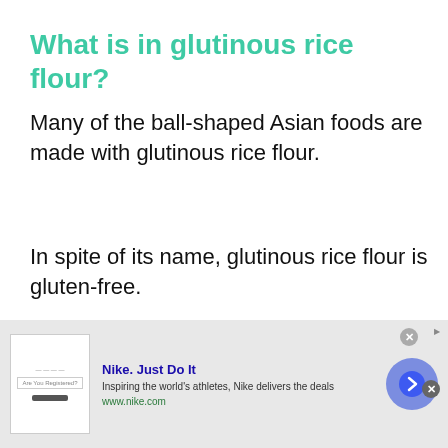What is in glutinous rice flour?
Many of the ball-shaped Asian foods are made with glutinous rice flour.
In spite of its name, glutinous rice flour is gluten-free.
It is milled flour made by grinding cooked and dehydrated kernels of long or short-grain glutinous rice (Oryza sativa glutinosa). This
[Figure (infographic): Nike advertisement overlay at bottom of page. Shows Nike logo area, headline 'Nike. Just Do It', description 'Inspiring the world's athletes, Nike delivers the deals', URL 'www.nike.com', close buttons, and a blue arrow button.]